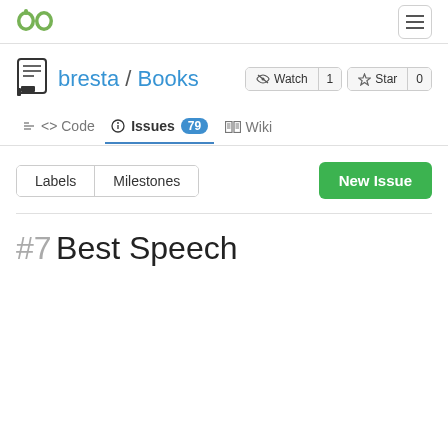[Figure (logo): Gitea green tea logo in top-left]
[Figure (other): Hamburger menu button top-right]
bresta / Books
Watch 1
Star 0
<> Code
Issues 79
Wiki
Labels
Milestones
New Issue
#7 Best Speech